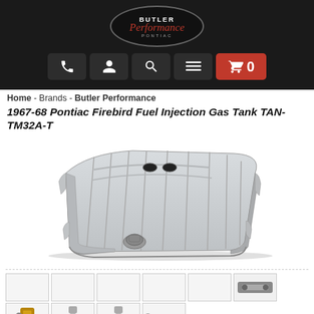Butler Performance Pontiac - website header with navigation icons and cart
Home - Brands - Butler Performance
1967-68 Pontiac Firebird Fuel Injection Gas Tank TAN-TM32A-T
[Figure (photo): Silver/gray metal fuel injection gas tank for 1967-68 Pontiac Firebird, viewed from above at slight angle, showing ribbed top surface with two filler holes and a port on the front]
[Figure (photo): Row of product thumbnail images: six empty/blank white thumbnail boxes plus one small thumbnail showing a fuel pump or related part in the top-right corner]
[Figure (photo): Second row of product thumbnails: fuel pump assembly, two bolt/fitting parts, and a long rod/pin part]